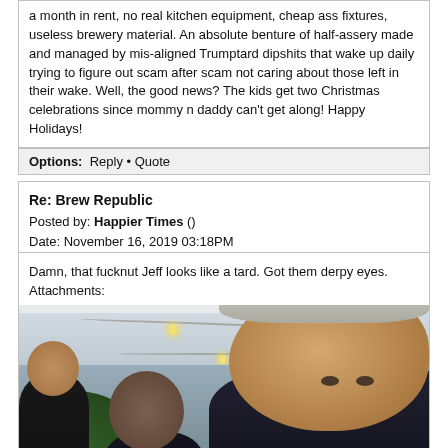a month in rent, no real kitchen equipment, cheap ass fixtures, useless brewery material. An absolute benture of half-assery made and managed by mis-aligned Trumptard dipshits that wake up daily trying to figure out scam after scam not caring about those left in their wake. Well, the good news? The kids get two Christmas celebrations since mommy n daddy can't get along! Happy Holidays!
Options: Reply • Quote
Re: Brew Republic
Posted by: Happier Times ()
Date: November 16, 2019 03:18PM
Damn, that fucknut Jeff looks like a tard. Got them derpy eyes.
Attachments:
[Figure (photo): Photo of people at an outdoor event under a tent with string lights. An older man with gray/silver hair is prominent on the right side of the image. Other people and green foliage visible in background.]